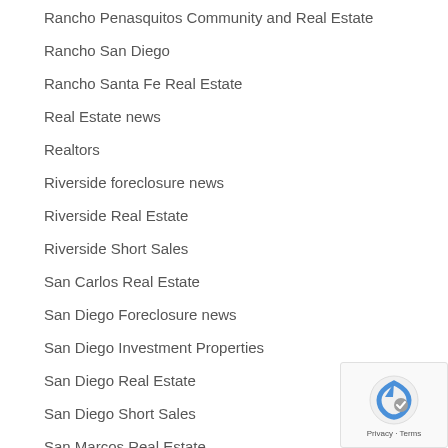Rancho Penasquitos Community and Real Estate
Rancho San Diego
Rancho Santa Fe Real Estate
Real Estate news
Realtors
Riverside foreclosure news
Riverside Real Estate
Riverside Short Sales
San Carlos Real Estate
San Diego Foreclosure news
San Diego Investment Properties
San Diego Real Estate
San Diego Short Sales
San Marcos Real Estate
Santee Real Estate